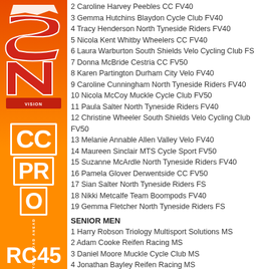[Figure (logo): CC Pro cycling event logo with red stylized text on orange/red gradient sidebar, with RC45 at bottom]
2 Caroline Harvey Peebles CC FV40
3 Gemma Hutchins Blaydon Cycle Club FV40
4 Tracy Henderson North Tyneside Riders FV40
5 Nicola Kent Whitby Wheelers CC FV40
6 Laura Warburton South Shields Velo Cycling Club FS
7 Donna McBride Cestria CC FV50
8 Karen Partington Durham City Velo FV40
9 Caroline Cunningham North Tyneside Riders FV40
10 Nicola McCoy Muckle Cycle Club FV50
11 Paula Salter North Tyneside Riders FV40
12 Christine Wheeler South Shields Velo Cycling Club FV50
13 Melanie Annable Allen Valley Velo FV40
14 Maureen Sinclair MTS Cycle Sport FV50
15 Suzanne McArdle North Tyneside Riders FV40
16 Pamela Glover Derwentside CC FV50
17 Sian Salter North Tyneside Riders FS
18 Nikki Metcalfe Team Boompods FV40
19 Gemma Fletcher North Tyneside Riders FS
SENIOR MEN
1 Harry Robson Triology Multisport Solutions MS
2 Adam Cooke Reifen Racing MS
3 Daniel Moore Muckle Cycle Club MS
4 Jonathan Bayley Reifen Racing MS
5 Chris Smith Reifen Racing MS
6 Christopher Burns Reifen Racing MS